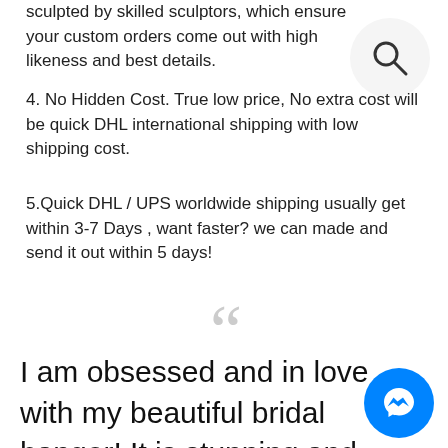sculpted by skilled sculptors, which ensure your custom orders come out with high likeness and best details.
4. No Hidden Cost. True low price, No extra cost will be quick DHL international shipping with low shipping cost.
5.Quick DHL / UPS worldwide shipping usually get within 3-7 Days , want faster? we can made and send it out within 5 days!
[Figure (illustration): Search magnifying glass icon in a light grey circle]
““
I am obsessed and in love with my beautiful bridal hanger! It is stunning and exactly what I wanted! Dealing with Handmade Decor was incredibly easy and a joy! Excellent customer service! Had known about them earlier, I would have
[Figure (illustration): Facebook Messenger icon - blue circle with white chat lightning bolt]